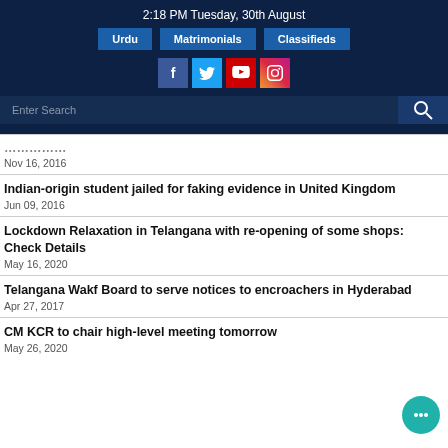2:18 PM Tuesday, 30th August
Urdu | Matrimonials | Classifieds
[Figure (infographic): Social media icons: Facebook, Twitter, YouTube, Instagram]
Enter Search
...truncated title...
Nov 16, 2016
Indian-origin student jailed for faking evidence in United Kingdom
Jun 09, 2016
Lockdown Relaxation in Telangana with re-opening of some shops: Check Details
May 16, 2020
Telangana Wakf Board to serve notices to encroachers in Hyderabad
Apr 27, 2017
CM KCR to chair high-level meeting tomorrow
May 26, 2020